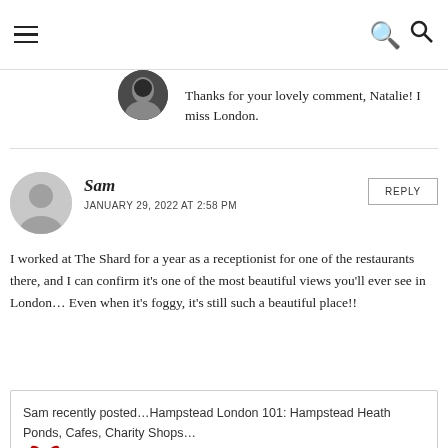Navigation menu and search
Thanks for your lovely comment, Natalie! I miss London.
Sam
JANUARY 29, 2022 AT 2:58 PM
I worked at The Shard for a year as a receptionist for one of the restaurants there, and I can confirm it's one of the most beautiful views you'll ever see in London… Even when it's foggy, it's still such a beautiful place!!
Sam recently posted...Hampstead London 101: Hampstead Heath Ponds, Cafes, Charity Shops...